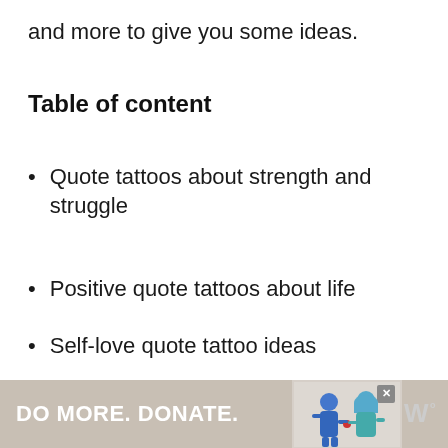and more to give you some ideas.
Table of content
Quote tattoos about strength and struggle
Positive quote tattoos about life
Self-love quote tattoo ideas
Empowering quote tattoos for girl
[Figure (infographic): Advertisement banner reading 'DO MORE. DONATE.' with two illustrated figures and a logo mark on the right]